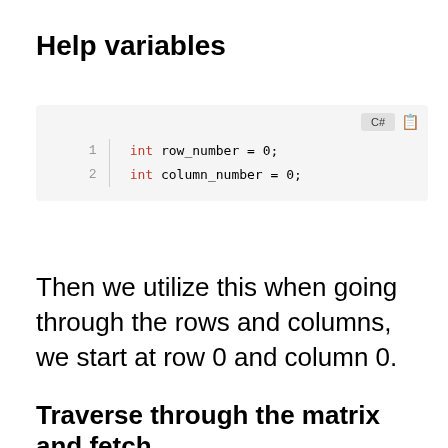Help variables
[Figure (screenshot): C# code block showing two lines: 'int row_number = 0;' and 'int column_number = 0;' on a light gray background with line numbers and a C# language tab.]
Then we utilize this when going through the rows and columns, we start at row 0 and column 0.
Traverse through the matrix and fetch and set values